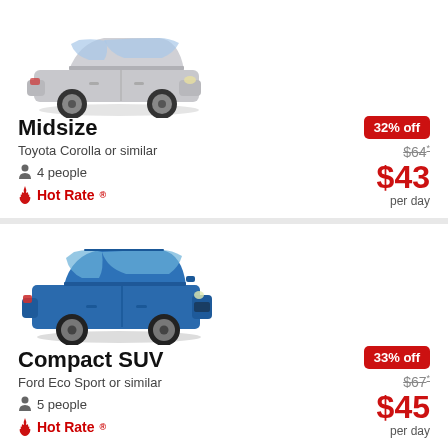[Figure (photo): Silver Toyota Corolla sedan car image]
Midsize
Toyota Corolla or similar
4 people
Hot Rate®
32% off
$64*
$43
per day
[Figure (photo): Blue Ford Eco Sport compact SUV car image]
Compact SUV
Ford Eco Sport or similar
5 people
Hot Rate®
33% off
$67*
$45
per day